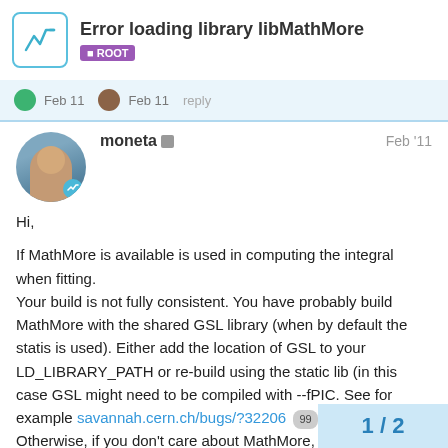Error loading library libMathMore — ROOT
Feb 11  Feb 11  reply
moneta  Feb '11
Hi,

If MathMore is available is used in computing the integral when fitting.
Your build is not fully consistent. You have probably build MathMore with the shared GSL library (when by default the statis is used). Either add the location of GSL to your LD_LIBRARY_PATH or re-build using the static lib (in this case GSL might need to be compiled with --fPIC. See for example savannah.cern.ch/bugs/?32206 99 )
Otherwise, if you don't care about MathMore, re-configure ROOT with --disable-mathmore

Lorenzo
1 / 2